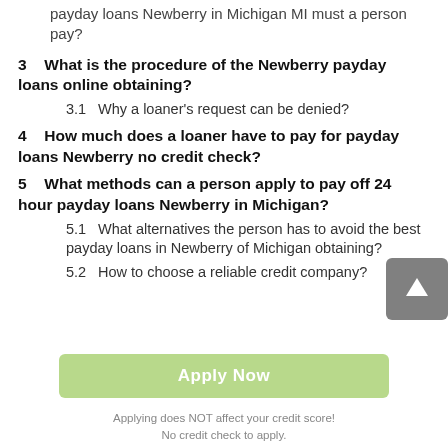payday loans Newberry in Michigan MI must a person pay?
3  What is the procedure of the Newberry payday loans online obtaining?
3.1  Why a loaner's request can be denied?
4  How much does a loaner have to pay for payday loans Newberry no credit check?
5  What methods can a person apply to pay off 24 hour payday loans Newberry in Michigan?
5.1  What alternatives the person has to avoid the best payday loans in Newberry of Michigan obtaining?
5.2  How to choose a reliable credit company?
[Figure (other): Scroll-to-top button with upward arrow icon, grey background]
[Figure (other): Apply Now button with light green background]
Applying does NOT affect your credit score!
No credit check to apply.